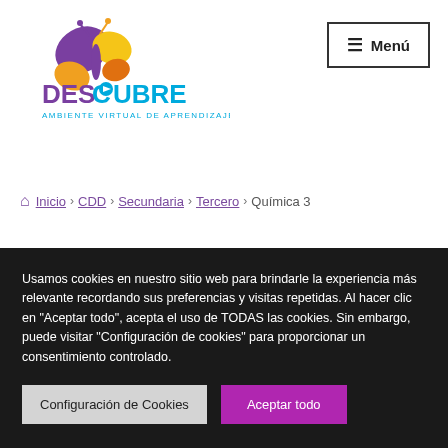[Figure (logo): DESCUBRE logo with butterfly graphic in purple, orange, yellow. Text 'DESCUBRE' in purple/blue with play button icon. Subtitle 'AMBIENTE VIRTUAL DE APRENDIZAJE' in blue.]
≡ Menú
⌂ Inicio › CDD › Secundaria › Tercero › Química 3
Usamos cookies en nuestro sitio web para brindarle la experiencia más relevante recordando sus preferencias y visitas repetidas. Al hacer clic en "Aceptar todo", acepta el uso de TODAS las cookies. Sin embargo, puede visitar "Configuración de cookies" para proporcionar un consentimiento controlado.
Configuración de Cookies
Aceptar todo